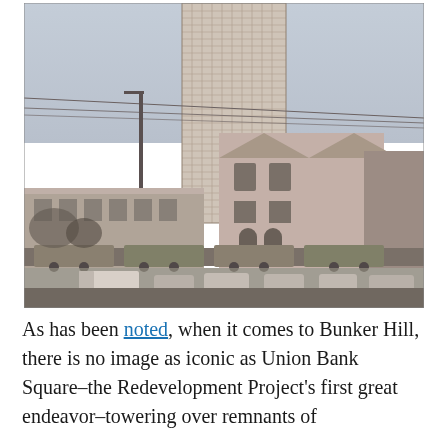[Figure (photo): Black and white / sepia-toned historical photograph showing a tall modernist skyscraper tower (Union Bank Square) looming over Victorian-era houses and low buildings in the foreground, with cars and trucks on the street below. The photo shows the contrast between the new high-rise development and remnants of the old Bunker Hill neighborhood in Los Angeles.]
As has been noted, when it comes to Bunker Hill, there is no image as iconic as Union Bank Square–the Redevelopment Project's first great endeavor–towering over remnants of